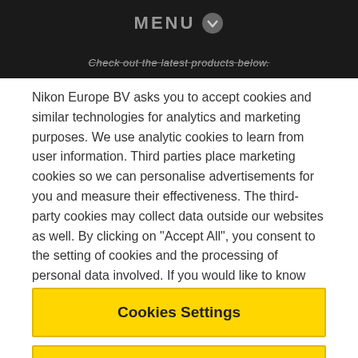MENU
Check out the latest products below.
Nikon Europe BV asks you to accept cookies and similar technologies for analytics and marketing purposes. We use analytic cookies to learn from user information. Third parties place marketing cookies so we can personalise advertisements for you and measure their effectiveness. The third-party cookies may collect data outside our websites as well. By clicking on "Accept All", you consent to the setting of cookies and the processing of personal data involved. If you would like to know more, please read our cookie notice.
Cookie Notice
Cookies Settings
Reject All
Accept All